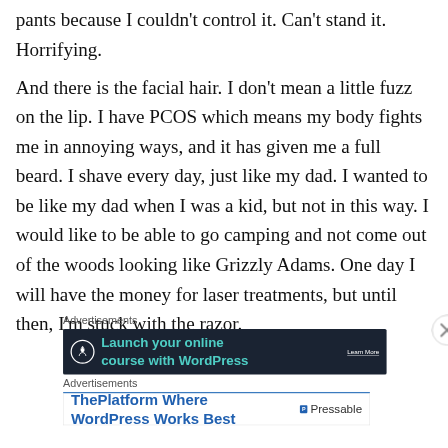pants because I couldn't control it. Can't stand it. Horrifying.
And there is the facial hair. I don't mean a little fuzz on the lip. I have PCOS which means my body fights me in annoying ways, and it has given me a full beard. I shave every day, just like my dad. I wanted to be like my dad when I was a kid, but not in this way. I would like to be able to go camping and not come out of the woods looking like Grizzly Adams. One day I will have the money for laser treatments, but until then, I'm stuck with the razor.
[Figure (other): Dark advertisement banner reading 'Launch your online course with WordPress' with a Learn More button and a white circle icon with an upload/person symbol]
[Figure (other): Light advertisement banner reading 'ThePlatform Where WordPress Works Best' with Pressable logo]